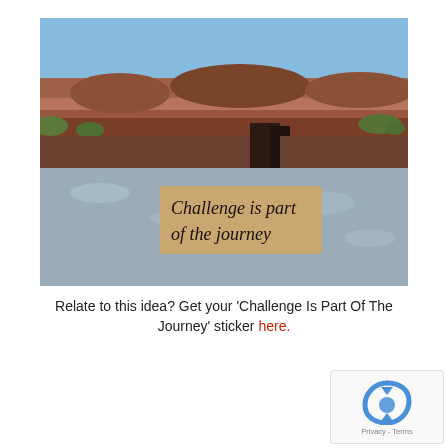[Figure (photo): A photograph showing a desert canyon landscape with red rock formations and blue sky in the upper half, and in the lower half a close-up of a metal surface with a handwritten note on tan paper reading 'Challenge is part of the journey'.]
Relate to this idea? Get your 'Challenge Is Part Of The Journey' sticker here.